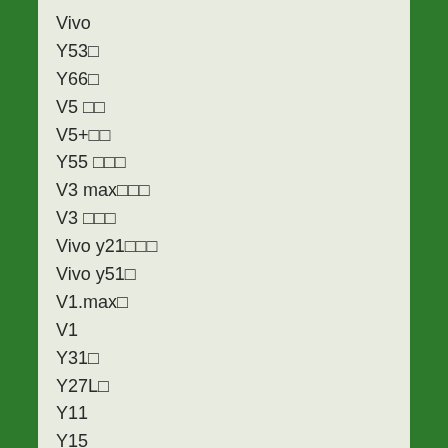Vivo
Y53□
Y66□
V5 □□
V5+□□
Y55□□□
V3 max□□□
V3 □□□
Vivo y21□□□
Vivo y51□
V1.max□
V1
Y31□
Y27L□
Y11
Y15
Y28
Y27